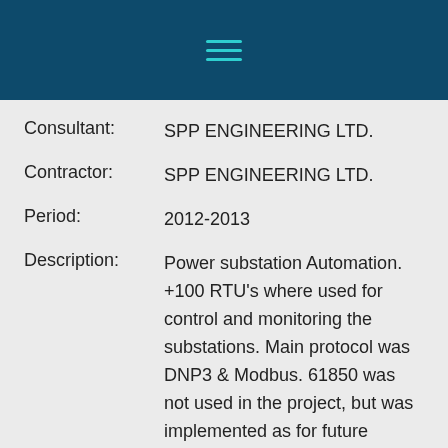[Figure (other): Dark teal navigation header bar with a hamburger menu icon (three horizontal teal lines)]
Consultant: SPP ENGINEERING LTD.
Contractor: SPP ENGINEERING LTD.
Period: 2012-2013
Description: Power substation Automation. +100 RTU's where used for control and monitoring the substations. Main protocol was DNP3 & Modbus. 61850 was not used in the project, but was implemented as for future